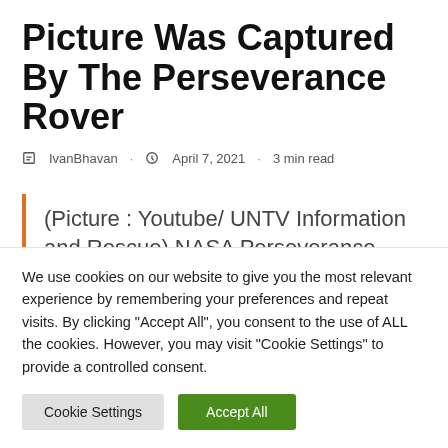Picture Was Captured By The Perseverance Rover
IvanBhavan · April 7, 2021 · 3 min read
(Picture : Youtube/ UNTV Information and Rescue) NASA Perseverance rover House
We use cookies on our website to give you the most relevant experience by remembering your preferences and repeat visits. By clicking "Accept All", you consent to the use of ALL the cookies. However, you may visit "Cookie Settings" to provide a controlled consent.